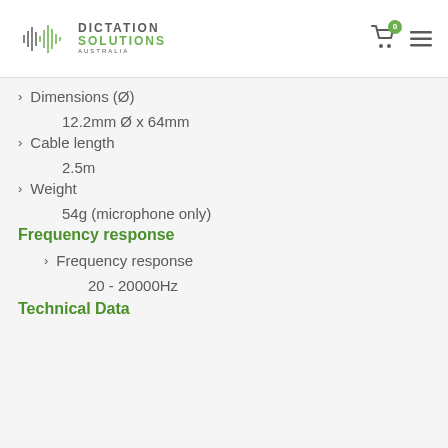Dictation Solutions Australia
Dimensions (Ø)
12.2mm Ø x 64mm
Cable length
2.5m
Weight
54g (microphone only)
Frequency response
Frequency response
20 - 20000Hz
Technical Data